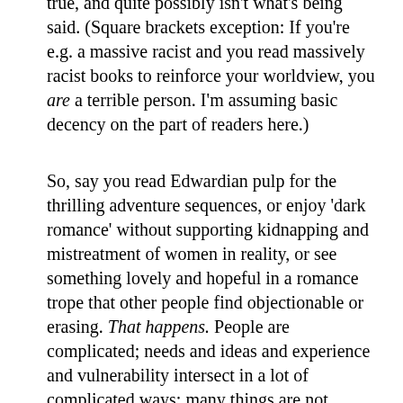true, and quite possibly isn't what's being said. (Square brackets exception: If you're e.g. a massive racist and you read massively racist books to reinforce your worldview, you are a terrible person. I'm assuming basic decency on the part of readers here.)
So, say you read Edwardian pulp for the thrilling adventure sequences, or enjoy 'dark romance' without supporting kidnapping and mistreatment of women in reality, or see something lovely and hopeful in a romance trope that other people find objectionable or erasing. That happens. People are complicated; needs and ideas and experience and vulnerability intersect in a lot of complicated ways; many things are not problematic to Person A, no matter how glaringly obvious they are to Person B; and things can be simultaneously problematic and empowering to different people. Rape erotica might seem detestable exploitation to some, yet may also be a powerful way for rape survivors to handle their experience. People may choose to retreat into fiction that erases their problems by ignoring their existence. What's good for one less-privileged person may also be harmful to another less-privileged person–as when a gay